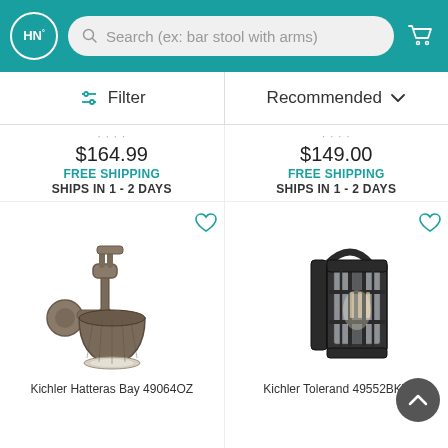HN° Search (ex: bar stool with arms)
Filter | Recommended
$164.99
FREE SHIPPING
SHIPS IN 1 - 2 DAYS
$149.00
FREE SHIPPING
SHIPS IN 1 - 2 DAYS
[Figure (photo): Kichler Hatteras Bay 49064OZ bronze industrial wall sconce lamp]
[Figure (photo): Kichler Tolerand 49552BKT black outdoor lantern wall sconce]
Kichler Hatteras Bay 49064OZ
Kichler Tolerand 49552BKT